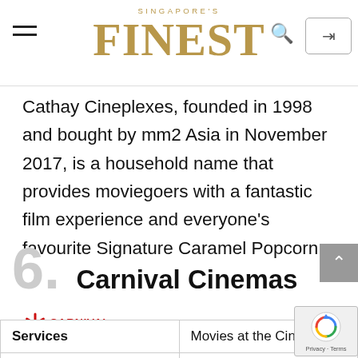SINGAPORE'S FINEST
Cathay Cineplexes, founded in 1998 and bought by mm2 Asia in November 2017, is a household name that provides moviegoers with a fantastic film experience and everyone's favourite Signature Caramel Popcorn.
6. Carnival Cinemas
[Figure (logo): Carnival Cinemas logo — red asterisk/star icon above text 'CARNIVAL CINEMAS Singapore', with tagline 'House of Indian Movies!']
| Services | Movies at the Cine... |
| --- | --- |
| Price Range |  |
[Figure (other): reCAPTCHA badge with rotating arrows icon and 'Privacy - Terms' text]